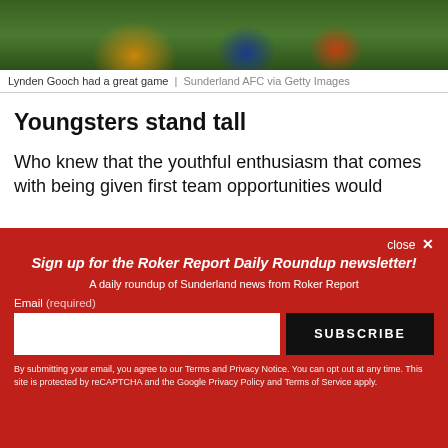[Figure (photo): Soccer/football players in action on a green pitch, Lynden Gooch game photo]
Lynden Gooch had a great game  |  Sunderland AFC via Getty Images
Youngsters stand tall
Who knew that the youthful enthusiasm that comes with being given first team opportunities would
Sign up for the Roker Report Daily Roundup newsletter!
A daily roundup of Sunderland news from Roker Report
Email (required)
By submitting your email, you agree to our Terms and Privacy Notice. You can opt out at any time. This site is protected by reCAPTCHA and the Google Privacy Policy and Terms of Service apply.